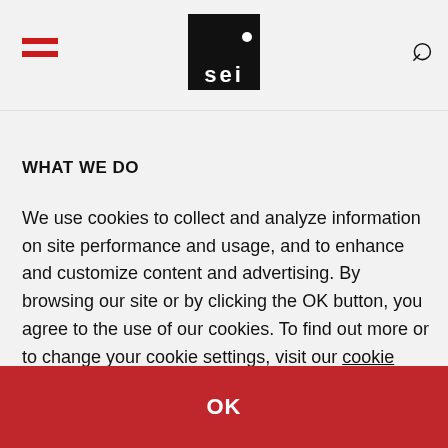[Figure (logo): SEI logo with black background, white dot on top block, white 'sei' text on bottom block]
WHAT WE DO
We use cookies to collect and analyze information on site performance and usage, and to enhance and customize content and advertising. By browsing our site or by clicking the OK button, you agree to the use of our cookies. To find out more or to change your cookie settings, visit our cookie policy page.
OK